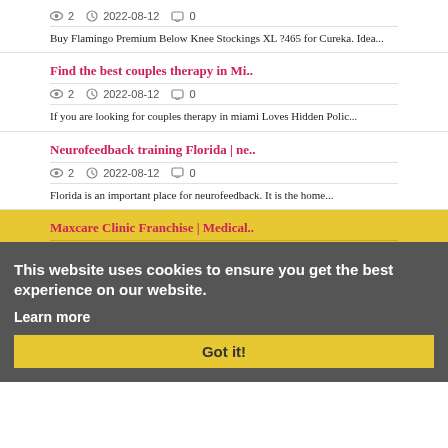2  2022-08-12  0
Buy Flamingo Premium Below Knee Stockings XL ?465 for Cureka. Idea...
Find the best couples therapy in Mi..
2  2022-08-12  0
If you are looking for couples therapy in miami Loves Hidden Polic...
Neurofeedback training Florida | ne..
2  2022-08-12  0
Florida is an important place for neurofeedback. It is the home...
This website uses cookies to ensure you get the best experience on our website. Learn more Got it!
Maxcare Clinic Franchise | Medical..
2  2022-08-12  0
Maxcare Clinic is innovative model that can grow and thrive in the...